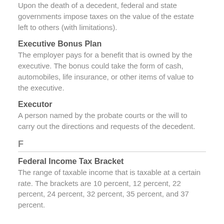Upon the death of a decedent, federal and state governments impose taxes on the value of the estate left to others (with limitations).
Executive Bonus Plan
The employer pays for a benefit that is owned by the executive. The bonus could take the form of cash, automobiles, life insurance, or other items of value to the executive.
Executor
A person named by the probate courts or the will to carry out the directions and requests of the decedent.
F
Federal Income Tax Bracket
The range of taxable income that is taxable at a certain rate. The brackets are 10 percent, 12 percent, 22 percent, 24 percent, 32 percent, 35 percent, and 37 percent.